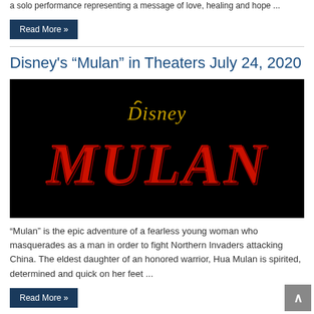a solo performance representing a message of love, healing and hope ...
Read More »
Disney's “Mulan” in Theaters July 24, 2020
[Figure (photo): Disney's Mulan movie title card on black background, showing the Disney logo in gold script above the word MULAN in large red stylized letters]
“Mulan” is the epic adventure of a fearless young woman who masquerades as a man in order to fight Northern Invaders attacking China. The eldest daughter of an honored warrior, Hua Mulan is spirited, determined and quick on her feet ...
Read More »